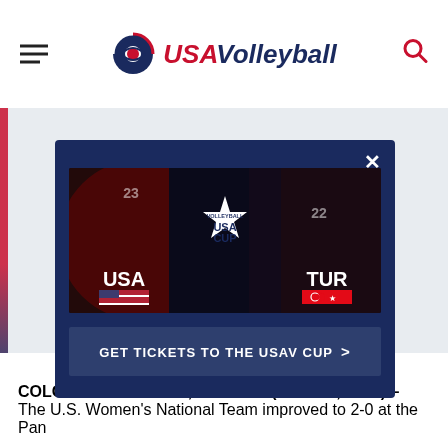USA Volleyball
[Figure (screenshot): USA Volleyball Cup promotional modal popup showing two volleyball players (USA #23 and TUR #22) against a dark red background, with the text 'USA CUP VOLLEYBALL', 'USA' with American flag, 'TUR' with Turkish flag, and a 'GET TICKETS TO THE USAV CUP >' button, overlaid on an article page]
COLORADO SPRINGS, Colorado (June 18, 2017) – The U.S. Women's National Team improved to 2-0 at the Pan...